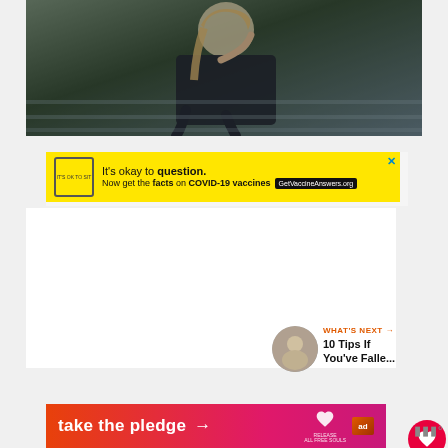[Figure (photo): Photo of a young woman with blonde hair hunched over, sitting on steps, wearing dark clothing, looking downward in a pensive or distressed pose.]
[Figure (infographic): Yellow advertisement banner: 'It's okay to question. Now get the facts on COVID-19 vaccines GetVaccineAnswers.org' with an X close button.]
[Figure (infographic): Red heart like button with count 59 and a share button below it on the right side.]
[Figure (infographic): WHAT'S NEXT panel with thumbnail image and text '10 Tips If You've Falle...']
[Figure (infographic): Orange to pink gradient banner reading 'take the pledge →' with RELEASE logo and ad marker.]